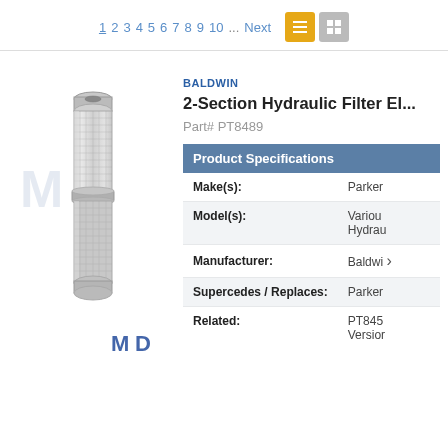1 2 3 4 5 6 7 8 9 10 ... Next
[Figure (photo): Cylindrical 2-section hydraulic filter element (Baldwin PT8489), metallic mesh surface, shown vertically with MD Enterprises watermark logo in background]
BALDWIN
2-Section Hydraulic Filter El...
Part# PT8489
| Product Specifications |  |
| --- | --- |
| Make(s): | Parker |
| Model(s): | Various Hydraulic |
| Manufacturer: | Baldwi |
| Supercedes / Replaces: | Parker |
| Related: | PT845 Version |